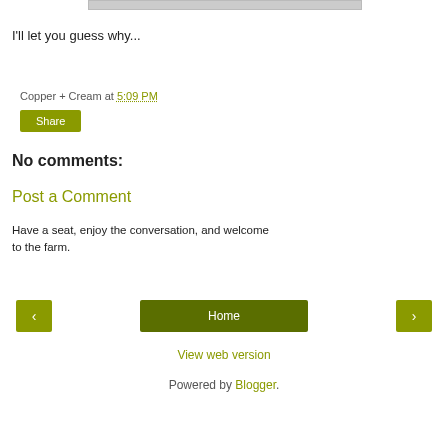[Figure (photo): Partial image strip at the top of the page]
I'll let you guess why...
Copper + Cream at 5:09 PM
Share
No comments:
Post a Comment
Have a seat, enjoy the conversation, and welcome to the farm.
‹
Home
›
View web version
Powered by Blogger.